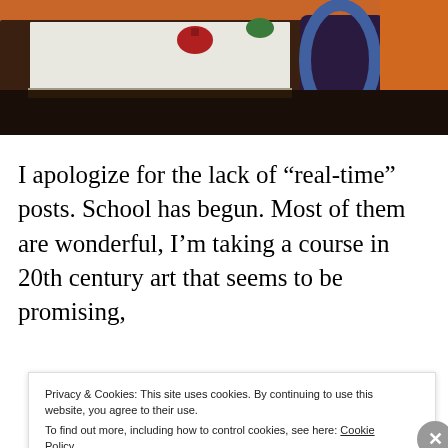[Figure (photo): A painting showing a dark wooden table or desk with a white surface, a red teapot or small object, and what appears to be a dark chair or figure with blue and orange tones in the background.]
I apologize for the lack of “real-time” posts. School has begun. Most of them are wonderful, I’m taking a course in 20th century art that seems to be promising,
Privacy & Cookies: This site uses cookies. By continuing to use this website, you agree to their use.
To find out more, including how to control cookies, see here: Cookie Policy
Close and accept